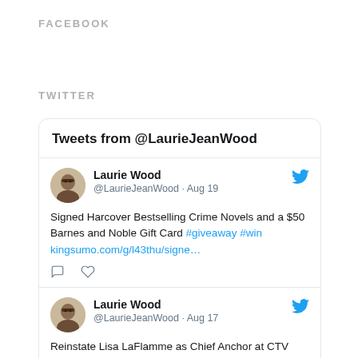FACEBOOK
TWITTER
[Figure (screenshot): Twitter widget showing tweets from @LaurieJeanWood. First tweet (Aug 19): 'Signed Harcover Bestselling Crime Novels and a $50 Barnes and Noble Gift Card #giveaway #win kingsumo.com/g/l43thu/signe...' Second tweet (Aug 17): 'Reinstate Lisa LaFlamme as Chief Anchor at CTV News cbpg.it/SW65pKyz via @CdnChange']